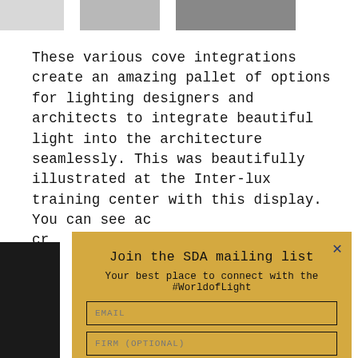[Figure (photo): Top strip with three product/interior photos separated by white gaps]
These various cove integrations create an amazing pallet of options for lighting designers and architects to integrate beautiful light into the architecture seamlessly. This was beautifully illustrated at the Inter-lux training center with this display. You can see ac[…] cr[…]
[Figure (photo): Dark interior photo partially visible at bottom left]
Join the SDA mailing list
Your best place to connect with the #WorldofLight
EMAIL
FIRM (OPTIONAL)
SUBSCRIBE